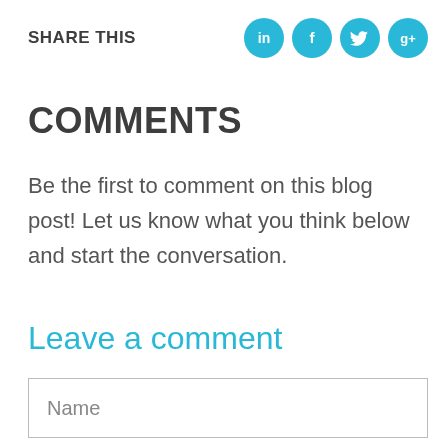SHARE THIS
[Figure (illustration): Four teal circular social media icons: LinkedIn (in), Facebook (f), Twitter (bird), Google+ (g+)]
COMMENTS
Be the first to comment on this blog post! Let us know what you think below and start the conversation.
Leave a comment
Name